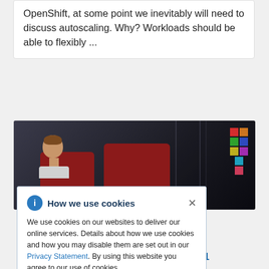OpenShift, at some point we inevitably will need to discuss autoscaling. Why? Workloads should be able to flexibly ...
[Figure (photo): Photo of a man sitting in a red chair in a dark office environment with colorful sticky notes on a wall in the background]
How we use cookies
We use cookies on our websites to deliver our online services. Details about how we use cookies and how you may disable them are set out in our Privacy Statement. By using this website you agree to our use of cookies.
Pod Security Admission in OpenShift 4.11